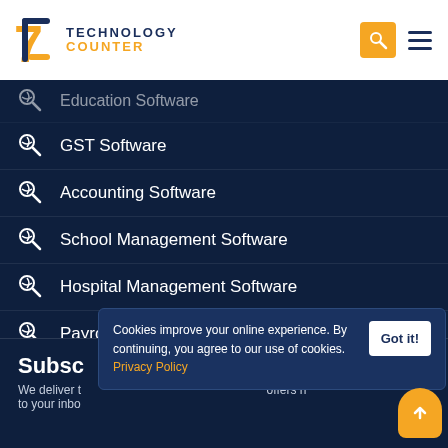Technology Counter
Education Software
GST Software
Accounting Software
School Management Software
Hospital Management Software
Payroll software
Whatsapp Marketing Software
All Software Categories
Subsc
We deliver t... offers ri... to your inbo...
Cookies improve your online experience. By continuing, you agree to our use of cookies. Privacy Policy